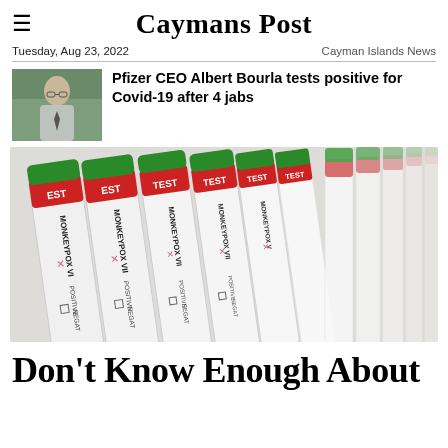Caymans Post
Tuesday, Aug 23, 2022    Cayman Islands News
Pfizer CEO Albert Bourla tests positive for Covid-19 after 4 jabs
[Figure (photo): Multiple monkeypox virus test tubes lined up diagonally, with red 'TEST' labels and 'MONKEYPOX' text, marked POSITIVE, with green caps visible at the top]
Don't Know Enough About